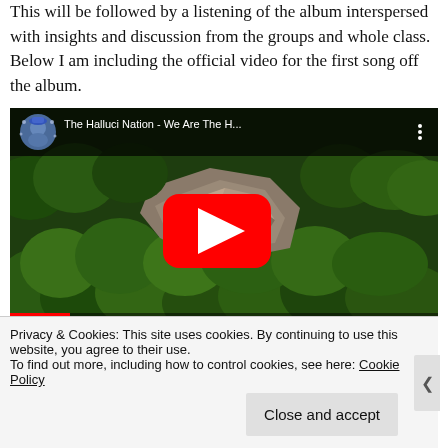This will be followed by a listening of the album interspersed with insights and discussion from the groups and whole class. Below I am including the official video for the first song off the album.
[Figure (screenshot): Embedded YouTube video thumbnail showing aerial view of forest and rocky terrain. Video title: 'The Halluci Nation - We Are The H...' with YouTube channel avatar and play button overlay.]
Privacy & Cookies: This site uses cookies. By continuing to use this website, you agree to their use.
To find out more, including how to control cookies, see here: Cookie Policy